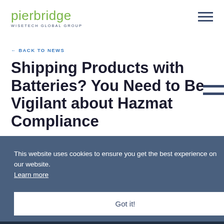pierbridge WISETECH GLOBAL GROUP
← BACK TO NEWS
Shipping Products with Batteries? You Need to Be Vigilant about Hazmat Compliance
This website uses cookies to ensure you get the best experience on our website. Learn more
Got it!